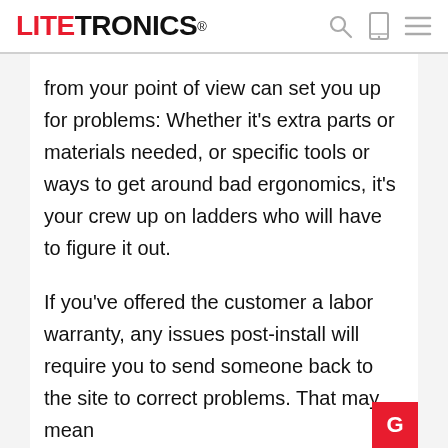LITETRONICS®
from your point of view can set you up for problems: Whether it's extra parts or materials needed, or specific tools or ways to get around bad ergonomics, it's your crew up on ladders who will have to figure it out.
If you've offered the customer a labor warranty, any issues post-install will require you to send someone back to the site to correct problems. That may mean